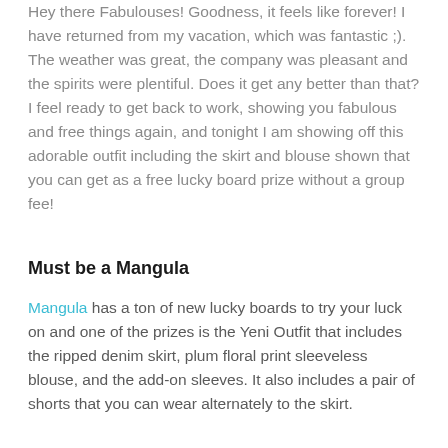Hey there Fabulouses!  Goodness, it feels like forever!  I have returned from my vacation, which was fantastic ;).  The weather was great, the company was pleasant and the spirits were plentiful.  Does it get any better than that?  I feel ready to get back to work, showing you fabulous and free things again, and tonight I am showing off this adorable outfit including the skirt and blouse shown that you can get as a free lucky board prize without a group fee!
Must be a Mangula
Mangula has a ton of new lucky boards to try your luck on and one of the prizes is the Yeni Outfit that includes the ripped denim skirt, plum floral print sleeveless blouse, and the add-on sleeves.  It also includes a pair of shorts that you can wear alternately to the skirt.